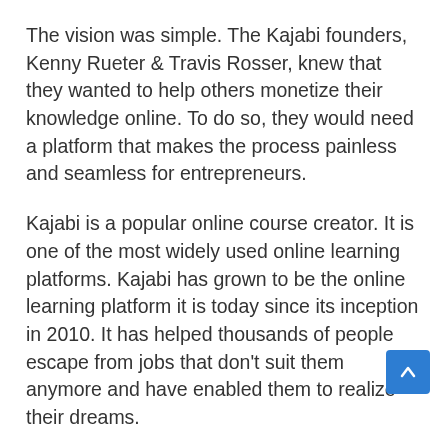The vision was simple. The Kajabi founders, Kenny Rueter & Travis Rosser, knew that they wanted to help others monetize their knowledge online. To do so, they would need a platform that makes the process painless and seamless for entrepreneurs.
Kajabi is a popular online course creator. It is one of the most widely used online learning platforms. Kajabi has grown to be the online learning platform it is today since its inception in 2010. It has helped thousands of people escape from jobs that don't suit them anymore and have enabled them to realize their dreams.
This overview will provide a basic understanding of Kajabi. This includes online course creation, marketing, pricing, and so much more. With this, you will have a good idea of what you will get should you choose Kajabi as your platform.